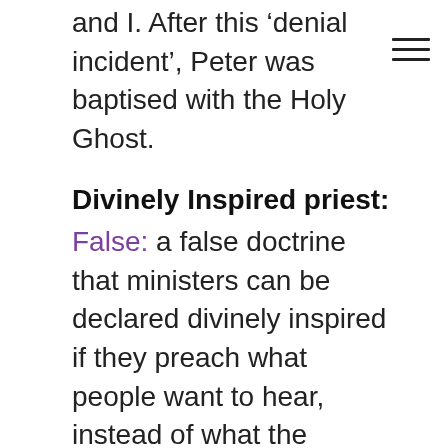and I. After this ‘denial incident’, Peter was baptised with the Holy Ghost.
Divinely Inspired priest:
False: a false doctrine that ministers can be declared divinely inspired if they preach what people want to hear, instead of what the Gospel reads. A thousand paedophiles have since been declared divinely inspired until they were exposed to u by the press! We